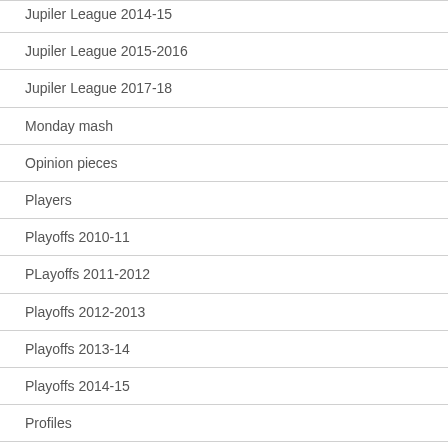Jupiler League 2014-15
Jupiler League 2015-2016
Jupiler League 2017-18
Monday mash
Opinion pieces
Players
Playoffs 2010-11
PLayoffs 2011-2012
Playoffs 2012-2013
Playoffs 2013-14
Playoffs 2014-15
Profiles
Proximus League
Top Tens